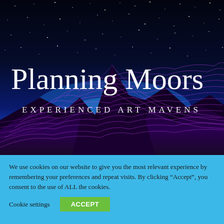[Figure (illustration): Hero banner with a dark starry night sky transitioning to bright blue at the horizon, with glowing wireframe mountain peaks rendered in purple/magenta lines over a dark background. Large white serif text reads 'Planning Moors' and spaced-letter text reads 'EXPERIENCED ART MAVENS'.]
We use cookies on our website to give you the most relevant experience by remembering your preferences and repeat visits. By clicking “Accept”, you consent to the use of ALL the cookies.
Cookie settings
ACCEPT